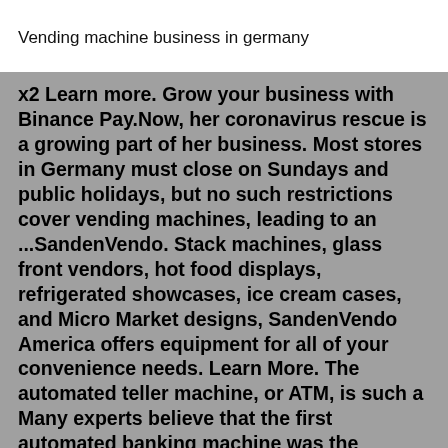Vending machine business in germany
x2 Learn more. Grow your business with Binance Pay.Now, her coronavirus rescue is a growing part of her business. Most stores in Germany must close on Sundays and public holidays, but no such restrictions cover vending machines, leading to an ...SandenVendo. Stack machines, glass front vendors, hot food displays, refrigerated showcases, ice cream cases, and Micro Market designs, SandenVendo America offers equipment for all of your convenience needs. Learn More. The automated teller machine, or ATM, is such a Many experts believe that the first automated banking machine was the creation of an American inventor and In 1967, a Scottish inventor named John Shepherd-Barron was sitting in the bathtub when he had a flash of genius: If vending machines...Cashless payments for vending machines. Increase revenue through improved customer